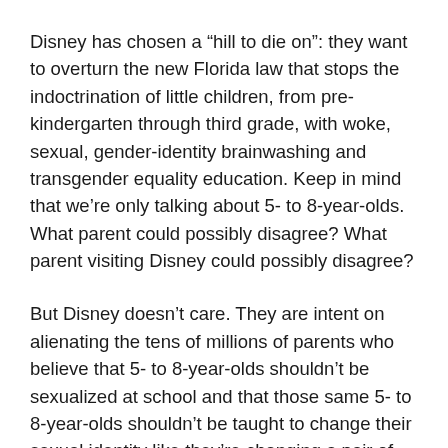Disney has chosen a “hill to die on”: they want to overturn the new Florida law that stops the indoctrination of little children, from pre-kindergarten through third grade, with woke, sexual, gender-identity brainwashing and transgender equality education. Keep in mind that we’re only talking about 5- to 8-year-olds. What parent could possibly disagree? What parent visiting Disney could possibly disagree?
But Disney doesn’t care. They are intent on alienating the tens of millions of parents who believe that 5- to 8-year-olds shouldn’t be sexualized at school and that those same 5- to 8-year-olds shouldn’t be taught to change their sexual identity like they’re changing a pair of sneakers. Can you imagine? Disney has chosen this hill to die on.
The president of Disney recently bragged that she will make sure half of all characters in Disney movies, television